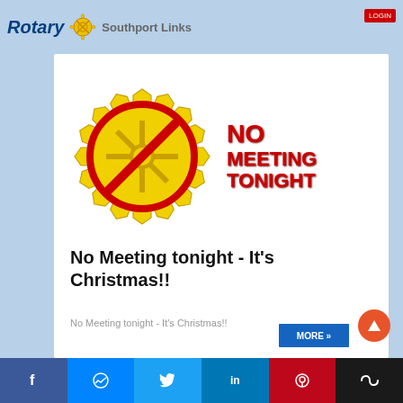Rotary Southport Links
[Figure (illustration): Rotary gear logo with red 'no' prohibition circle overlay, with bold red text 'NO MEETING TONIGHT' to the right]
No Meeting tonight - It's Christmas!!
No Meeting tonight - It's Christmas!!
Facebook, Messenger, Twitter, LinkedIn, Pinterest, Coil social share bar